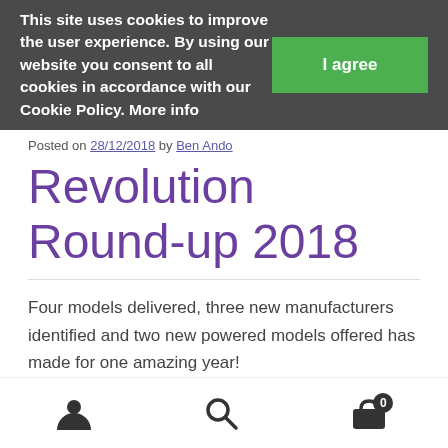This site uses cookies to improve the user experience. By using our website you consent to all cookies in accordance with our Cookie Policy. More info
I agree
Posted on 28/12/2018 by Ben Ando
Revolution Round-up 2018
Four models delivered, three new manufacturers identified and two new powered models offered has made for one amazing year!
[Figure (other): Bottom navigation bar with user account icon, search icon, and cart icon with badge showing 0]